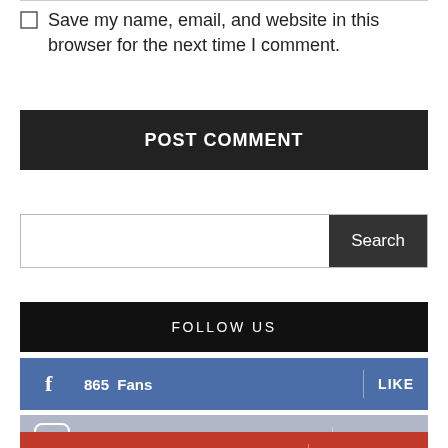Save my name, email, and website in this browser for the next time I comment.
POST COMMENT
Search
FOLLOW US
865  Fans  LIKE
19  Followers  FOLLOW
0  Subscribers  SUBSCRIBE